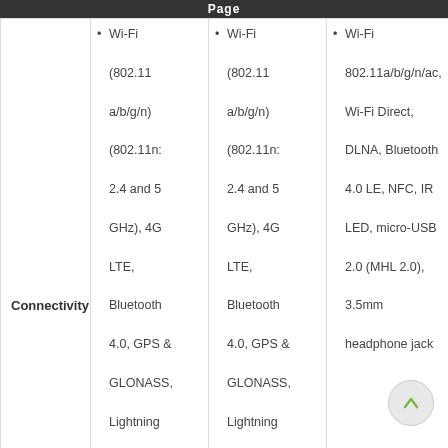Page
|  | Column 1 | Column 2 | Column 3 |
| --- | --- | --- | --- |
| Connectivity | Wi-Fi (802.11 a/b/g/n) (802.11n: 2.4 and 5 GHz), 4G LTE, Bluetooth 4.0, GPS & GLONASS, Lightning connector, 3.5mm headphone jack | Wi-Fi (802.11 a/b/g/n) (802.11n: 2.4 and 5 GHz), 4G LTE, Bluetooth 4.0, GPS & GLONASS, Lightning connector, 3.5mm headphone jack | Wi-Fi 802.11a/b/g/n/ac, Wi-Fi Direct, DLNA, Bluetooth 4.0 LE, NFC, IR LED, micro-USB 2.0 (MHL 2.0), 3.5mm headphone jack |